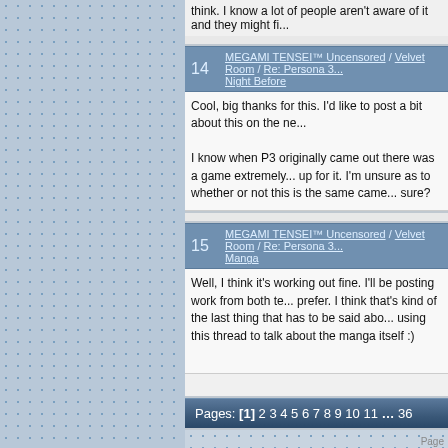think. I know a lot of people aren't aware of it and they might fi...
14  MEGAMI TENSEI™ Uncensored / Velvet Room / Re: Persona 3... Night Before
Cool, big thanks for this. I'd like to post a bit about this on the ne...

I know when P3 originally came out there was a game extremely... up for it. I'm unsure as to whether or not this is the same came... sure?
15  MEGAMI TENSEI™ Uncensored / Velvet Room / Re: Persona 3... Manga
Well, I think it's working out fine. I'll be posting work from both te... prefer. I think that's kind of the last thing that has to be said abo... using this thread to talk about the manga itself :)
Pages: [1] 2 3 4 5 6 7 8 9 10 11 ... 36
Powered by SMF 1.1.5 | SMF © 2006-2008, S... Page created in 0.098 seconds with